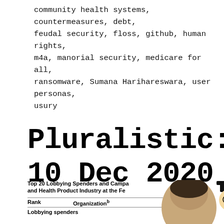community health systems, countermeasures, debt, feudal security, floss, github, human rights, m4a, manorial security, medicare for all, ransomware, Sumana Harihareswara, user personas, usury
Pluralistic: 10 Dec 2020
[Figure (photo): Composite image showing a table titled 'Top 20 Lobbying Spenders and Campaign contributors in the Pharmaceutical and Health Product Industry at the Federal Level' with columns for Rank and Organization, and a row category 'Lobbying spenders', overlaid with a photo of a person's face and a cartoon Monopoly-man figure]